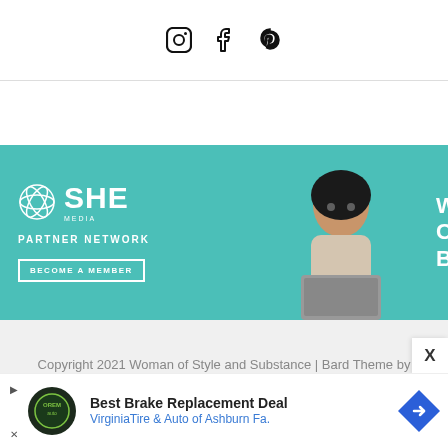[Figure (other): Social media icons: Instagram, Facebook, Pinterest]
[Figure (other): SHE Media Partner Network advertisement banner with teal background, woman with laptop, text WE HE... CREA... BUSINESS...]
Copyright 2021 Woman of Style and Substance | Bard Theme by WP Royal.
[Figure (other): Bottom advertisement: Best Brake Replacement Deal - VirginiaTire & Auto of Ashburn Fa.]